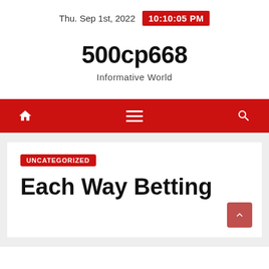Thu. Sep 1st, 2022  10:10:05 PM
500cp668
Informative World
[Figure (other): Red navigation bar with home icon, hamburger menu icon, and search icon]
UNCATEGORIZED
Each Way Betting